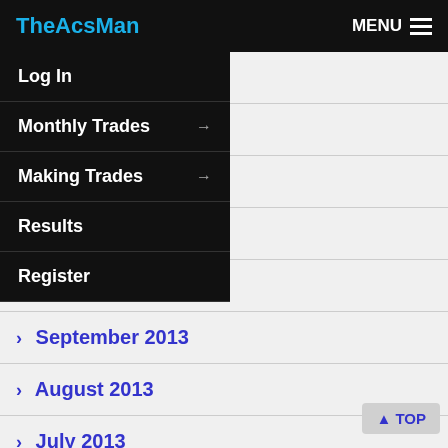TheAcsMan | MENU
> February 2014
> 14
> 2013
> 2013
> 13
> September 2013
> August 2013
> July 2013
> June 2013
> May 2013
> April 2013
> March 2013